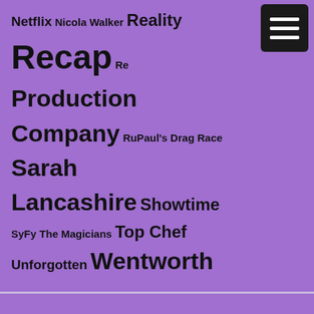Netflix Nicola Walker Reality Recap Red Production Company RuPaul's Drag Race Sarah Lancashire Showtime SyFy The Magicians Top Chef Unforgotten Wentworth
[Figure (other): Dark hamburger menu button with three white horizontal lines on black rounded rectangle background]
Monthly Archives
Select Month
Proudly powered by WordPress | Theme: Heidi